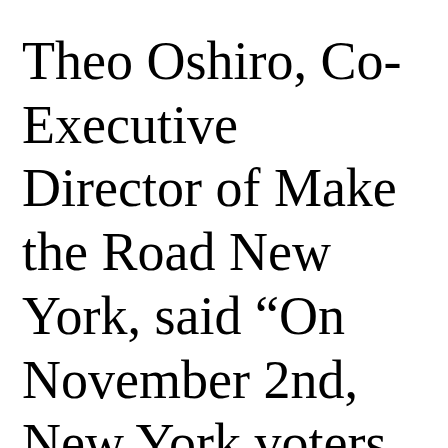Theo Oshiro, Co-Executive Director of Make the Road New York, said “On November 2nd, New York voters have the